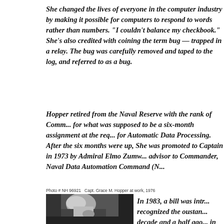She changed the lives of everyone in the computer industry by making it possible for computers to respond to words rather than numbers. "I couldn't balance my checkbook." She's also credited with coining the term bug — trapped in a relay. The bug was carefully removed and taped to the log, and referred to as a bug.
Hopper retired from the Naval Reserve with the rank of Commander in 1966 for what was supposed to be a six-month assignment at the request of the Bureau for Automatic Data Processing. After the six months were up, she was recalled. She was promoted to Captain in 1973 by Admiral Elmo Zumwalt, and served as advisor to Commander, Naval Data Automation Command (N...
Photo # NH 96921   Capt. Grace M. Hopper at work, 1976
[Figure (photo): Black and white photograph of Capt. Grace M. Hopper at work, 1976, showing an elderly woman with white hair working at a desk, viewed from above/side angle.]
In 1983, a bill was introduced that recognized the outstanding... decade and a half ago... in Hopper after seeing... speaking with several p... The bill was approved...